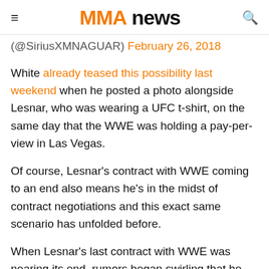MMA NEWS
(@SiriusXMNAGUAR) February 26, 2018
White already teased this possibility last weekend when he posted a photo alongside Lesnar, who was wearing a UFC t-shirt, on the same day that the WWE was holding a pay-per-view in Las Vegas.
Of course, Lesnar's contract with WWE coming to an end also means he's in the midst of contract negotiations and this exact same scenario has unfolded before.
When Lesnar's last contract with WWE was nearing its end, rumors began swirling that he was potentially plotting a comeback to the UFC before